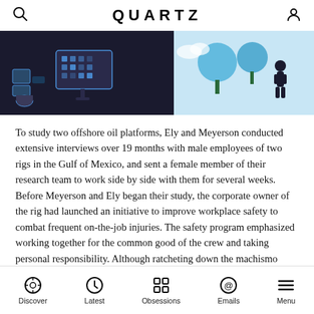QUARTZ
[Figure (illustration): Decorative banner illustration showing a person with a digital dashboard/screen and trees on a blue background]
To study two offshore oil platforms, Ely and Meyerson conducted extensive interviews over 19 months with male employees of two rigs in the Gulf of Mexico, and sent a female member of their research team to work side by side with them for several weeks. Before Meyerson and Ely began their study, the corporate owner of the rig had launched an initiative to improve workplace safety to combat frequent on-the-job injuries. The safety program emphasized working together for the common good of the crew and taking personal responsibility. Although ratcheting down the machismo wasn't a goal of
Discover  Latest  Obsessions  Emails  Menu